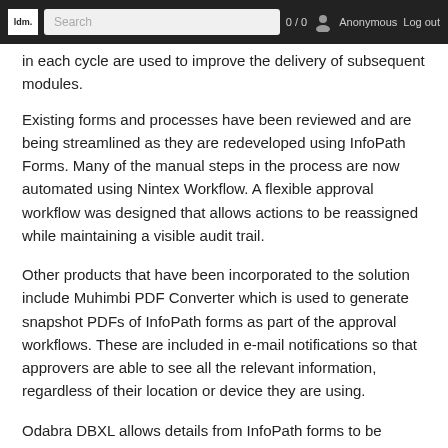ldm. | Search | 0 / 0 | Anonymous | Log out
in each cycle are used to improve the delivery of subsequent modules.
Existing forms and processes have been reviewed and are being streamlined as they are redeveloped using InfoPath Forms. Many of the manual steps in the process are now automated using Nintex Workflow. A flexible approval workflow was designed that allows actions to be reassigned while maintaining a visible audit trail.
Other products that have been incorporated to the solution include Muhimbi PDF Converter which is used to generate snapshot PDFs of InfoPath forms as part of the approval workflows. These are included in e-mail notifications so that approvers are able to see all the relevant information, regardless of their location or device they are using.
Odabra DBXL allows details from InfoPath forms to be stored